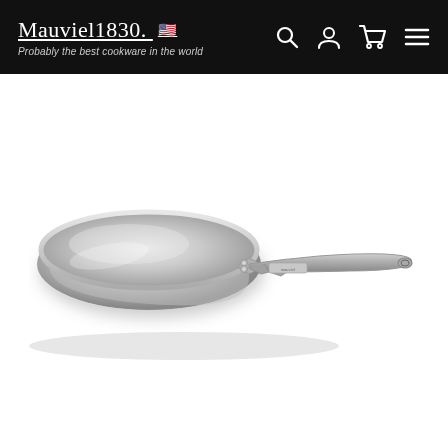Mauviel1830. — Probably the best cookware in the world
[Figure (photo): Stainless steel frying pan / skillet by Mauviel1830, shown from a low side angle. The pan has a polished silver interior and exterior with a cast-steel handle. The Mauviel brand name is visible on a plaque near the handle attachment.]